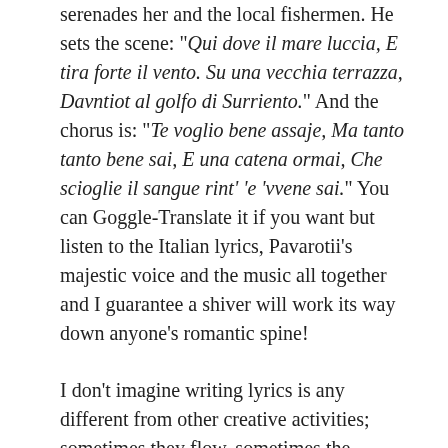serenades her and the local fishermen. He sets the scene: "Qui dove il mare luccia, E tira forte il vento. Su una vecchia terrazza, Davntiot al golfo di Surriento." And the chorus is: "Te voglio bene assaje, Ma tanto tanto bene sai, E una catena ormai, Che scioglie il sangue rint' 'e 'vvene sai." You can Goggle-Translate it if you want but listen to the Italian lyrics, Pavarotii's majestic voice and the music all together and I guarantee a shiver will work its way down anyone's romantic spine!
I don't imagine writing lyrics is any different from other creative activities; sometimes they flow, sometimes the inability to express oneself seems frozen in time.  One glaring exception was George Frideric Handel's Messiah. The whole 259 page oratorio was written over just 24 days in 1741, at a rate